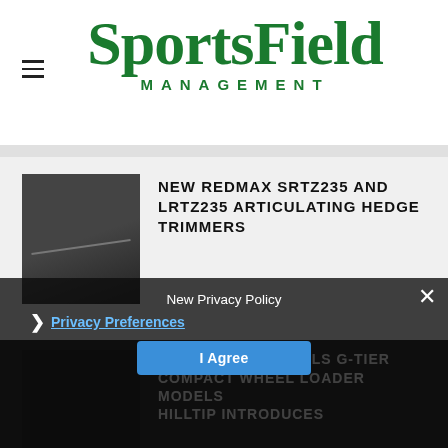[Figure (logo): SportsField Management logo in dark green, large serif font with 'MANAGEMENT' in spaced sans-serif capitals below]
[Figure (photo): Dark gray/black photo thumbnail of articulating hedge trimmer]
NEW REDMAX SRTZ235 AND LRTZ235 ARTICULATING HEDGE TRIMMERS
[Figure (photo): Dark/black photo thumbnail of John Deere compact wheel loader]
JOHN DEERE UNVEILS G-TIER COMPACT WHEEL LOADER MODELS
[Figure (photo): Dark photo thumbnail partial view]
HILLTIP INTRODUCES
New Privacy Policy
Privacy Preferences
I Agree